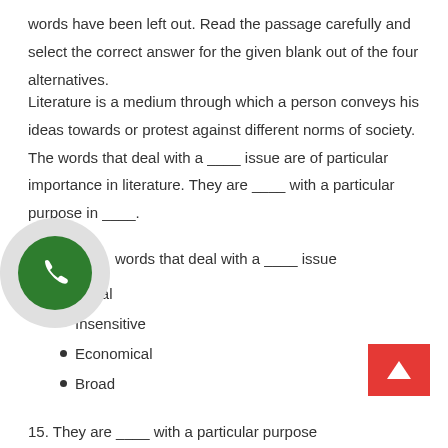words have been left out. Read the passage carefully and select the correct answer for the given blank out of the four alternatives.
Literature is a medium through which a person conveys his ideas towards or protest against different norms of society. The words that deal with a ____ issue are of particular importance in literature. They are ____ with a particular purpose in ____.
words that deal with a ____ issue
Moral
Insensitive
Economical
Broad
15. They are ____ with a particular purpose